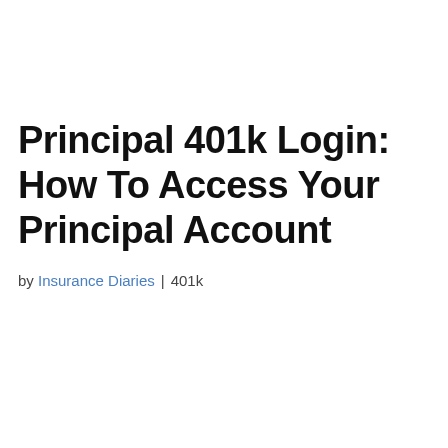Principal 401k Login: How To Access Your Principal Account
by Insurance Diaries | 401k